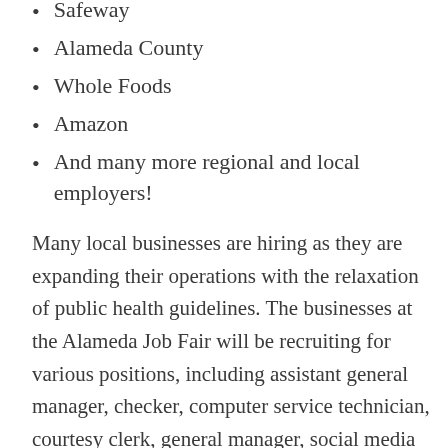Safeway
Alameda County
Whole Foods
Amazon
And many more regional and local employers!
Many local businesses are hiring as they are expanding their operations with the relaxation of public health guidelines. The businesses at the Alameda Job Fair will be recruiting for various positions, including assistant general manager, checker, computer service technician, courtesy clerk, general manager, social media coordinator, and store associate. Job seekers should come